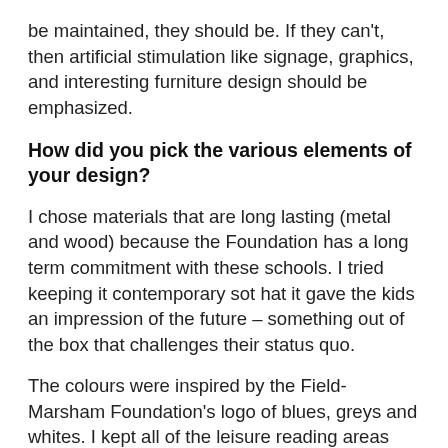be maintained, they should be. If they can't, then artificial stimulation like signage, graphics, and interesting furniture design should be emphasized.
How did you pick the various elements of your design?
I chose materials that are long lasting (metal and wood) because the Foundation has a long term commitment with these schools. I tried keeping it contemporary sot hat it gave the kids an impression of the future – something out of the box that challenges their status quo.
The colours were inspired by the Field-Marsham Foundation's logo of blues, greys and whites. I kept all of the leisure reading areas close to outdoor windows to take advantage of